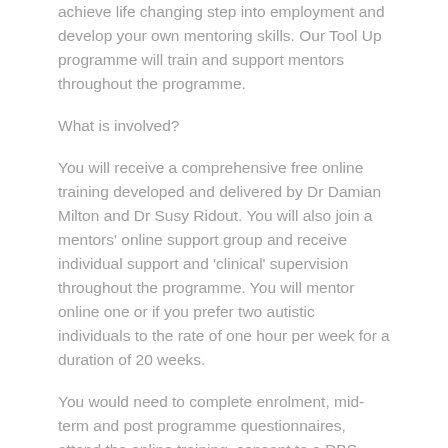achieve life changing step into employment and develop your own mentoring skills. Our Tool Up programme will train and support mentors throughout the programme.
What is involved?
You will receive a comprehensive free online training developed and delivered by Dr Damian Milton and Dr Susy Ridout. You will also join a mentors' online support group and receive individual support and 'clinical' supervision throughout the programme. You will mentor online one or if you prefer two autistic individuals to the rate of one hour per week for a duration of 20 weeks.
You would need to complete enrolment, mid-term and post programme questionnaires, attend the online training, consent to a DBS check and commit to 20 weeks of mentoring. You will receive payment of £13.2 per session.